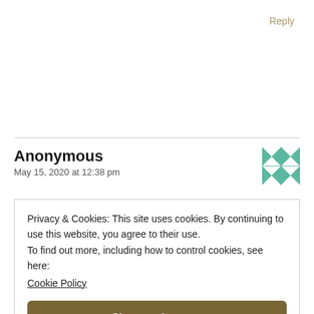Reply
Anonymous
May 15, 2020 at 12:38 pm
[Figure (illustration): Decorative avatar icon with green geometric quilt-like pattern]
Privacy & Cookies: This site uses cookies. By continuing to use this website, you agree to their use.
To find out more, including how to control cookies, see here:
Cookie Policy
Close and accept